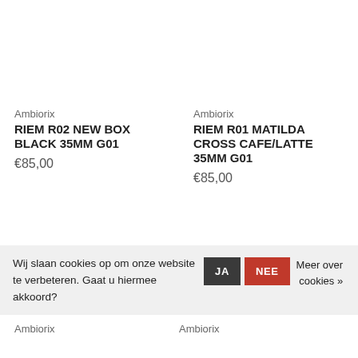Ambiorix
RIEM R02 NEW BOX BLACK 35MM G01
€85,00
Ambiorix
RIEM R01 MATILDA CROSS CAFE/LATTE 35MM G01
€85,00
Wij slaan cookies op om onze website te verbeteren. Gaat u hiermee akkoord?
JA
NEE
Meer over cookies »
Ambiorix
Ambiorix